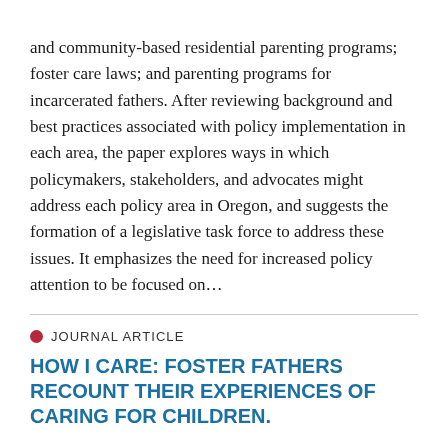and community-based residential parenting programs; foster care laws; and parenting programs for incarcerated fathers. After reviewing background and best practices associated with policy implementation in each area, the paper explores ways in which policymakers, stakeholders, and advocates might address each policy area in Oregon, and suggests the formation of a legislative task force to address these issues. It emphasizes the need for increased policy attention to be focused on…
JOURNAL ARTICLE
HOW I CARE: FOSTER FATHERS RECOUNT THEIR EXPERIENCES OF CARING FOR CHILDREN.
This article reports the findings of a narrative study of 23 foster fathers involved with an independent foster care agency. These narratives reveal a more complex contribution to the lives of fostered children than is currently attributed to men in the professional literature. Foster fathers are